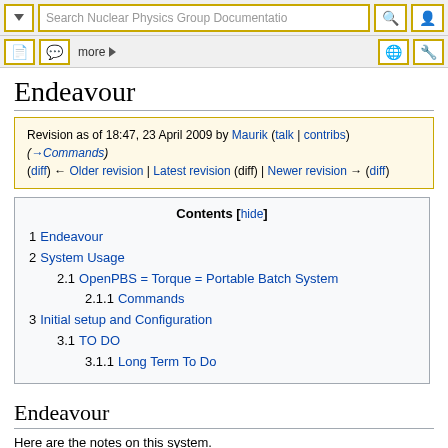Search Nuclear Physics Group Documentation [toolbar UI]
Endeavour
Revision as of 18:47, 23 April 2009 by Maurik (talk | contribs) (→Commands)
(diff) ← Older revision | Latest revision (diff) | Newer revision → (diff)
| Contents |
| --- |
| 1 Endeavour |
| 2 System Usage |
| 2.1 OpenPBS = Torque = Portable Batch System |
| 2.1.1 Commands |
| 3 Initial setup and Configuration |
| 3.1 TO DO |
| 3.1.1 Long Term To Do |
Endeavour
Here are the notes on this system.
Notes on configuration status/changes and ToDo is at the bottom.